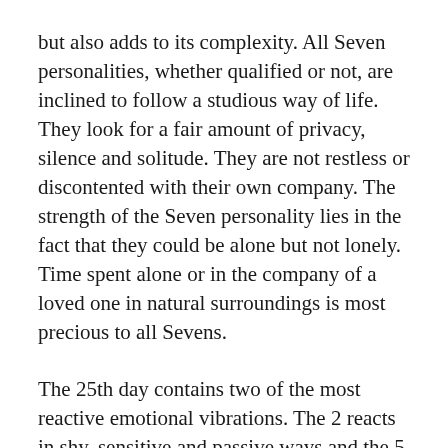but also adds to its complexity. All Seven personalities, whether qualified or not, are inclined to follow a studious way of life. They look for a fair amount of privacy, silence and solitude. They are not restless or discontented with their own company. The strength of the Seven personality lies in the fact that they could be alone but not lonely. Time spent alone or in the company of a loved one in natural surroundings is most precious to all Sevens.
The 25th day contains two of the most reactive emotional vibrations. The 2 reacts in shy, sensitive and passive ways and the 5 in active and assertive ways. The Twenty-Five personality can do without emotional vibrations from other areas of influence. Those who are born in the 2nd, 5th and 8th months and some